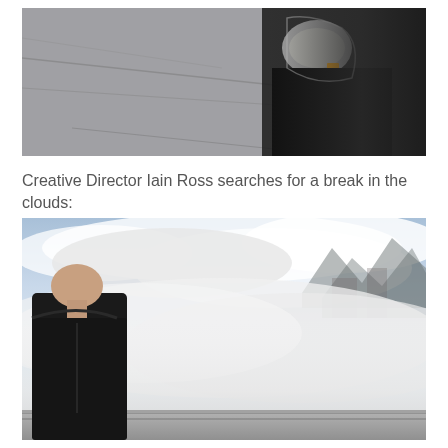[Figure (photo): A person wearing a black jacket and a transparent glove or bag over their hand, standing on wet pavement or a road. The background shows a grey rainy outdoor scene.]
Creative Director Iain Ross searches for a break in the clouds:
[Figure (photo): A person wearing a black hoodie stands on the left side of the frame, looking to the right. In the background, dramatic rocky mountain peaks are partially obscured by thick mist and clouds. A guardrail is visible at the bottom of the frame.]